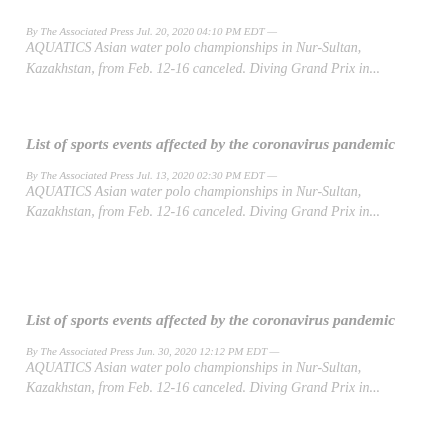By The Associated Press Jul. 20, 2020 04:10 PM EDT —
AQUATICS Asian water polo championships in Nur-Sultan, Kazakhstan, from Feb. 12-16 canceled. Diving Grand Prix in...
List of sports events affected by the coronavirus pandemic
By The Associated Press Jul. 13, 2020 02:30 PM EDT —
AQUATICS Asian water polo championships in Nur-Sultan, Kazakhstan, from Feb. 12-16 canceled. Diving Grand Prix in...
List of sports events affected by the coronavirus pandemic
By The Associated Press Jun. 30, 2020 12:12 PM EDT —
AQUATICS Asian water polo championships in Nur-Sultan, Kazakhstan, from Feb. 12-16 canceled. Diving Grand Prix in...